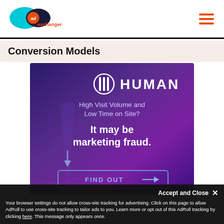AdExchanger logo and navigation
Conversion Models
[Figure (advertisement): HUMAN Security advertisement banner with purple gradient background. Shows HUMAN logo (shield icon with bars and 'HUMAN' text), headline 'High Visit Volume and Low Time on Site?', bold text 'It may be marketing fraud.', down arrow, and 'FIND OUT' button with arrow.]
Accept and Close ✕
Your browser settings do not allow cross-site tracking for advertising. Click on this page to allow AdRoll to use cross-site tracking to tailor ads to you. Learn more or opt out of this AdRoll tracking by clicking here. This message only appears once.